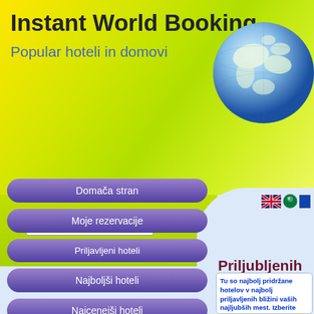Instant World Booking
Popular hoteli in domovi
[Figure (illustration): Globe/Earth illustration in top right corner of header]
[Figure (illustration): UK flag, green circle flag, blue flag icons for language selection]
Slovenski-Sloveniæ (language dropdown selector)
Priljubljenih destinacij in hoteli
Domača stran
Moje rezervacije
Priljubljeni hoteli
Najboljši hoteli
Najcenejši hoteli
Tu so najbolj pridržane hotelov v najbolj priljubljenih bližini vaših najljubših mest. Izberite Rezervira
Lokacija:
-Izberi Kraj-
Najbolj priljavljeni Mesta: